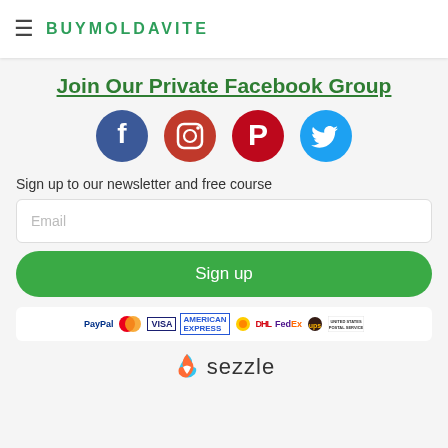BUYMOLDAVITE
States
Email: info@buymoldavite.com
Phone: +1 (833) 200-7587
Join Our Private Facebook Group
[Figure (illustration): Social media icons in circles: Facebook (dark blue), Instagram (red gradient), Pinterest (red), Twitter (light blue)]
Sign up to our newsletter and free course
Email
Sign up
[Figure (logo): Payment method logos: PayPal, Mastercard, VISA, American Express, Deutsche Post, DHL, FedEx, UPS, United States Postal Service]
[Figure (logo): Sezzle logo with colorful flame icon]